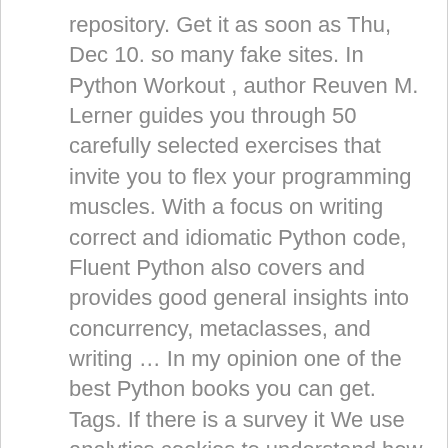repository. Get it as soon as Thu, Dec 10. so many fake sites. In Python Workout , author Reuven M. Lerner guides you through 50 carefully selected exercises that invite you to flex your programming muscles. With a focus on writing correct and idiomatic Python code, Fluent Python also covers and provides good general insights into concurrency, metaclasses, and writing … In my opinion one of the best Python books you can get. Tags. If there is a survey it We use analytics cookies to understand how you use our websites so we can make them better, e.g. Beginning SharePoint 2013 Development. 2nd Edition (57) 3rd Edition (13) advanced python pdf … Like no other book of this list, it shows how the mechanics behind the scenes work. I'd say once you have a few months' experience with coding you'll probably be fine. In addition, FLUENT will